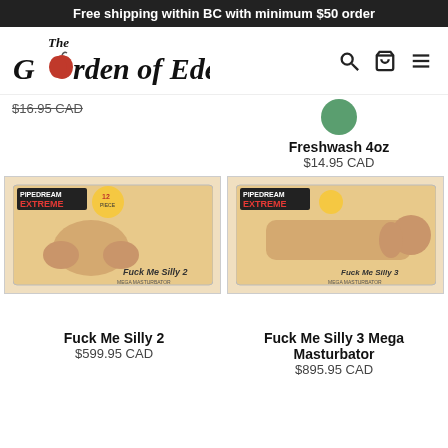Free shipping within BC with minimum $50 order
[Figure (logo): The Garden of Eden logo with apple replacing 'o' in Garden]
$14.95 CAD (partial price visible, struck through)
Freshwash 4oz
$14.95 CAD
[Figure (photo): Product box image: Pipedream Extreme Fuck Me Silly 2 Mega Masturbator]
[Figure (photo): Product box image: Pipedream Extreme Fuck Me Silly 3 Mega Masturbator]
Fuck Me Silly 2
$599.95 CAD
Fuck Me Silly 3 Mega Masturbator
$895.95 CAD